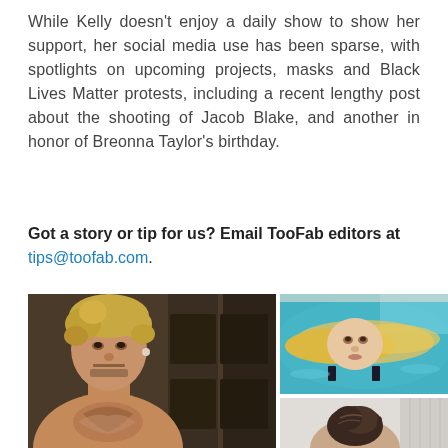While Kelly doesn't enjoy a daily show to show her support, her social media use has been sparse, with spotlights on upcoming projects, masks and Black Lives Matter protests, including a recent lengthy post about the shooting of Jacob Blake, and another in honor of Breonna Taylor's birthday.
Got a story or tip for us? Email TooFab editors at tips@toofab.com.
[Figure (photo): Two photos side by side: left photo shows a shirtless man with curly blonde hair and tattoos; top-right photo shows a blonde woman floating in a pool; bottom-right photo shows a woman with dark hair in a bun.]